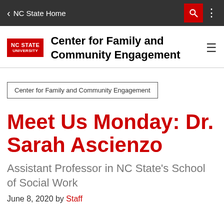NC State Home
Center for Family and Community Engagement
Center for Family and Community Engagement
Meet Us Monday: Dr. Sarah Ascienzo
Assistant Professor in NC State's School of Social Work
June 8, 2020 by Staff